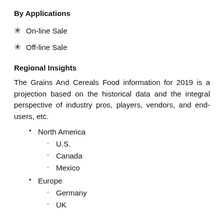By Applications
On-line Sale
Off-line Sale
Regional Insights
The Grains And Cereals Food information for 2019 is a projection based on the historical data and the integral perspective of industry pros, players, vendors, and end-users, etc.
North America
U.S.
Canada
Mexico
Europe
Germany
UK